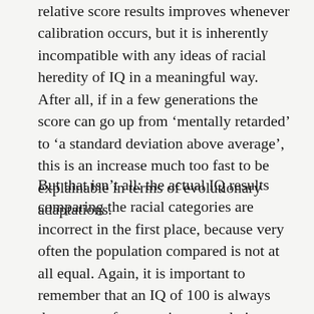relative score results improves whenever calibration occurs, but it is inherently incompatible with any ideas of racial heredity of IQ in a meaningful way. After all, if in a few generations the score can go up from ‘mentally retarded’ to ‘a standard deviation above average’, this is an increase much too fast to be explainable in terms of evolutionary adaptations.
But that isn’t all: the actual IQ results comparing the racial categories are incorrect in the first place, because very often the population compared is not at all equal. Again, it is important to remember that an IQ of 100 is always the average for any given population, so the test population chosen matters enormously. As Richard Dawkins has pointed out, one can safely